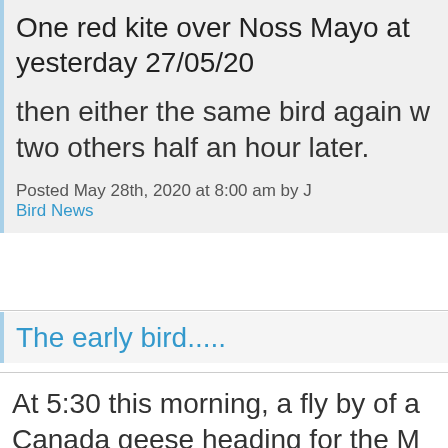One red kite over Noss Mayo at yesterday 27/05/20
then either the same bird again w two others half an hour later.
Posted May 28th, 2020 at 8:00 am by J Bird News
The early bird.....
At 5:30 this morning, a fly by of a Canada geese heading for the M years never seen geese in Paign